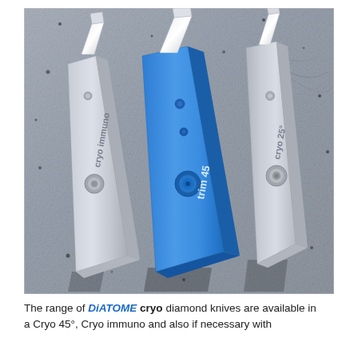[Figure (photo): Product photo of three DiATOME cryo diamond knives arranged diagonally. Left and right knives are silver/grey colored, labeled 'cryo immuno' and 'cryo 25°' respectively. The center knife is bright blue, labeled 'trim 45'. All three have a flat angled body with a small diamond blade at the top and a circular element (screw/lens) on the face. Background is a grey textured surface resembling an electron microscopy image with scattered dark spots.]
The range of DiATOME cryo diamond knives are available in a Cryo 45°, Cryo immuno and also if necessary with